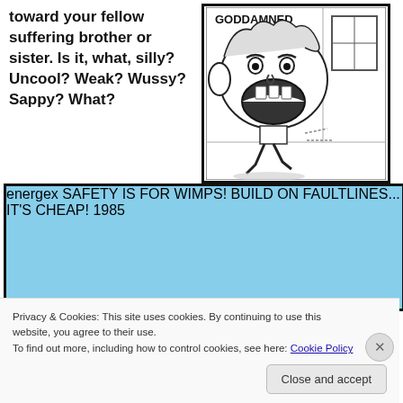toward your fellow suffering brother or sister. Is it, what, silly? Uncool? Weak? Wussy? Sappy? What?
[Figure (illustration): Black and white cartoon of an angry exaggerated face/figure yelling, with text 'GODDAMNED' visible at top, figure running in a room]
[Figure (illustration): Color cartoon panel showing Energex logo in a pill-shaped bubble with speech bubble saying 'SAFETY IS FOR WIMPS! BUILD ON FAULTLINES... IT'S CHEAP!' A calendar showing 1985 and cartoon characters visible below on a teal background.]
Privacy & Cookies: This site uses cookies. By continuing to use this website, you agree to their use.
To find out more, including how to control cookies, see here: Cookie Policy